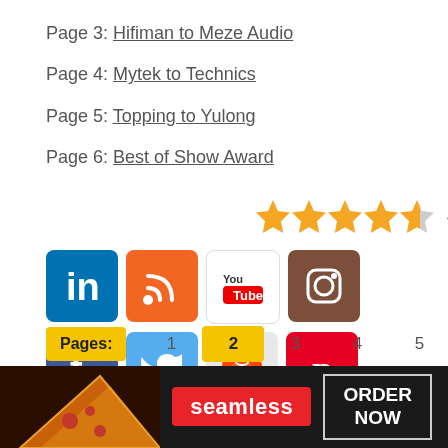Page 3: Hifiman to Meze Audio
Page 4: Mytek to Technics
Page 5: Topping to Yulong
Page 6: Best of Show Award
4.6/5 - (119 votes)
[Figure (infographic): Social media icons: LinkedIn, RSS, YouTube, Instagram, Facebook, Twitter, Reddit, Pinterest]
Pages: 1 2 3 4 5 6 CLOSE
[Figure (infographic): Seamless food delivery advertisement banner with pizza image, Seamless logo, and ORDER NOW button]